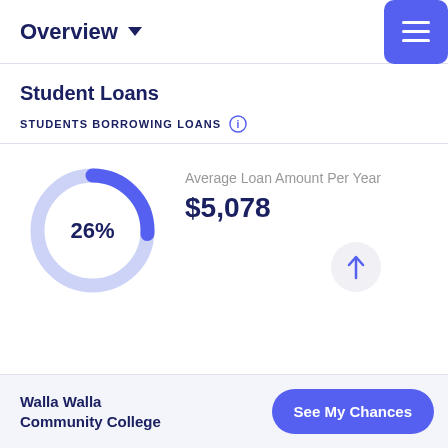Overview
Student Loans
STUDENTS BORROWING LOANS
[Figure (donut-chart): Students Borrowing Loans]
Average Loan Amount Per Year
$5,078
Walla Walla Community College
See My Chances